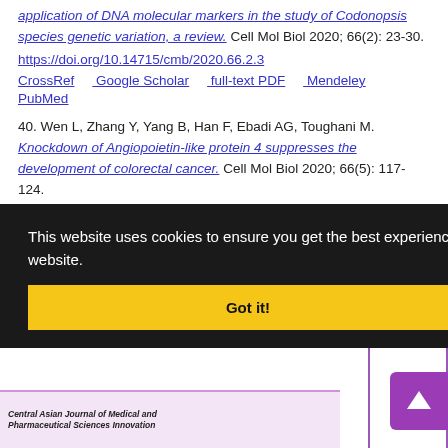application of DNA molecular markers in the study of Codonopsis species genetic variation, a review. Cell Mol Biol 2020; 66(2): 23-30.
https://doi.org/10.14715/cmb/2020.66.2.3
CrossRef   Google Scholar   full-text PDF   Mendeley   PubMed
40. Wen L, Zhang Y, Yang B, Han F, Ebadi AG, Toughani M. Knockdown of Angiopoietin-like protein 4 suppresses the development of colorectal cancer. Cell Mol Biol 2020; 66(5): 117-124.
https://doi.org/10.14715/cmb/2020.66.5.21
CrossRef   Google Scholar   full-text PDF   Mendeley   PubMed
[Figure (screenshot): Cookie consent banner with dark background reading 'This website uses cookies to ensure you get the best experience on our website.' and a yellow 'Got it!' button.]
[Figure (other): Partial view of a right-side panel with purple border showing partial date text '2' and '2021', and a purple scroll-to-top arrow button.]
[Figure (other): Bottom partial image showing pink/lavender background with text 'Central Asian Journal of Medical and Pharmaceutical Sciences Innovation' in italic.]